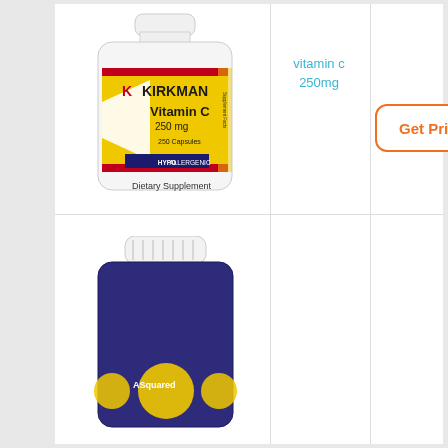[Figure (photo): Kirkman Vitamin C 250mg 250 Capsules supplement bottle with yellow label, Hypoallergenic, Dietary Supplement]
vitamin c
250mg
[Figure (other): Get Price button with orange border and orange text]
[Figure (photo): ASquared vitamin supplement bottle, dark blue/purple, partially visible at bottom of page]